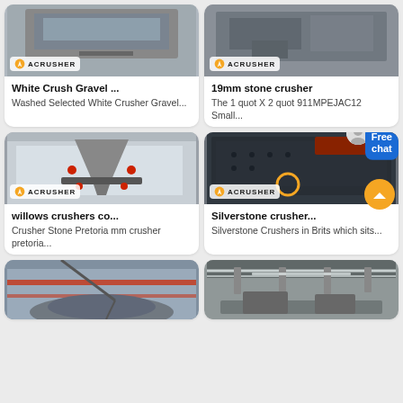[Figure (photo): Industrial crusher machine with ACRUSHER logo badge]
White Crush Gravel ...
Washed Selected White Crusher Gravel...
[Figure (photo): Stone crusher machine with ACRUSHER logo badge]
19mm stone crusher
The 1 quot X 2 quot 911MPEJAC12 Small...
[Figure (photo): Large cone crusher machine with ACRUSHER logo badge]
willows crushers co...
Crusher Stone Pretoria mm crusher pretoria...
[Figure (photo): Black industrial crusher machine with ACRUSHER logo badge and free chat button overlay]
Silverstone crusher...
Silverstone Crushers in Brits which sits...
[Figure (photo): Outdoor crusher with red structure]
[Figure (photo): Indoor industrial facility with overhead cranes]